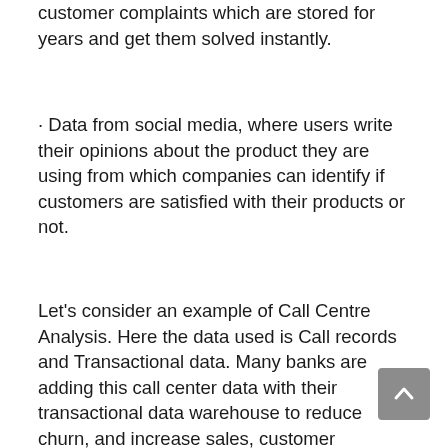customer complaints which are stored for years and get them solved instantly.
· Data from social media, where users write their opinions about the product they are using from which companies can identify if customers are satisfied with their products or not.
Let's consider an example of Call Centre Analysis. Here the data used is Call records and Transactional data. Many banks are adding this call center data with their transactional data warehouse to reduce churn, and increase sales, customer monitoring alerts, and scam detection.
Apache Flink suggests an opportunity to tap